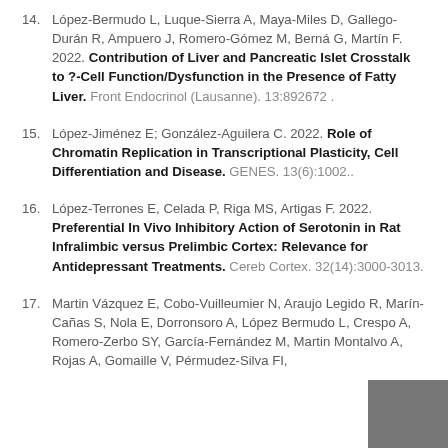14. López-Bermudo L, Luque-Sierra A, Maya-Miles D, Gallego-Durán R, Ampuero J, Romero-Gómez M, Berná G, Martín F. 2022. Contribution of Liver and Pancreatic Islet Crosstalk to ?-Cell Function/Dysfunction in the Presence of Fatty Liver. Front Endocrinol (Lausanne). 13:892672 .
15. López-Jiménez E; González-Aguilera C. 2022. Role of Chromatin Replication in Transcriptional Plasticity, Cell Differentiation and Disease. GENES. 13(6):1002..
16. López-Terrones E, Celada P, Riga MS, Artigas F. 2022. Preferential In Vivo Inhibitory Action of Serotonin in Rat Infralimbic versus Prelimbic Cortex: Relevance for Antidepressant Treatments. Cereb Cortex. 32(14):3000-3013.
17. Martin Vázquez E, Cobo-Vuilleumier N, Araujo Legido R, Marín-Cañas S, Nola E, Dorronsoro A, López Bermudo L, Crespo A, Romero-Zerbo SY, García-Fernández M, Martin Montalvo A, Rojas A, Gomaille V, Pérmudez-Silva FI...